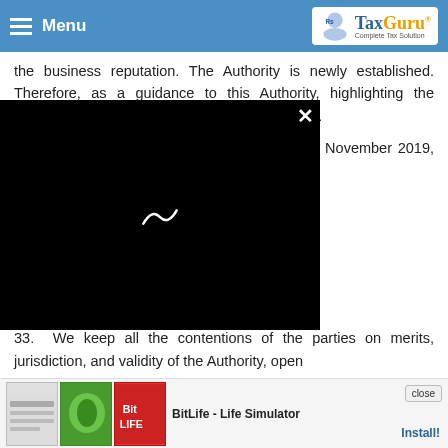Menu | TaxGuru - Complete Tax Solution
the business reputation. The Authority is newly established. Therefore, as a guidance to this Authority, highlighting the importance of fair decision-making is necessary.
32. As a result, the impugned order dated 16 November 2019, passed by the National Anti- [profiteering authority is set] aside. The proceedings [initiated on] 2018 before the National [Anti-Profiteering Authority] – Respondent No.2. [No adverse] notice to the Petitioner is not [issued. The petitioner] will appear before the Authority on 25 November 2019.
33. We keep all the contentions of the parties on merits, jurisdiction, and validity of the Authority, open[...]